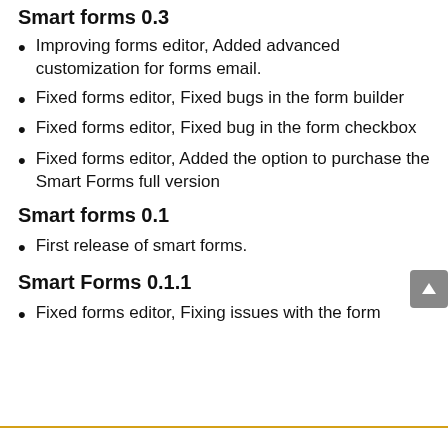Smart forms 0.3
Improving forms editor, Added advanced customization for forms email.
Fixed forms editor, Fixed bugs in the form builder
Fixed forms editor, Fixed bug in the form checkbox
Fixed forms editor, Added the option to purchase the Smart Forms full version
Smart forms 0.1
First release of smart forms.
Smart Forms 0.1.1
Fixed forms editor, Fixing issues with the form